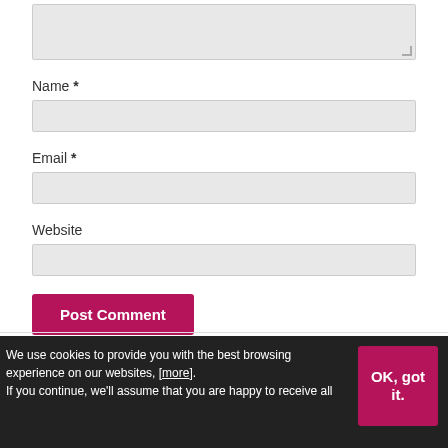[Figure (screenshot): A textarea input box (greyed out, empty) with a resize handle at bottom-right]
Name *
[Figure (screenshot): A text input field for Name (greyed out, empty)]
Email *
[Figure (screenshot): A text input field for Email (greyed out, empty)]
Website
[Figure (screenshot): A text input field for Website (greyed out, empty)]
[Figure (screenshot): A crimson/dark-pink button labeled Post Comment]
We use cookies to provide you with the best browsing experience on our websites, [more]. If you continue, we'll assume that you are happy to receive all
[Figure (screenshot): OK, got it. button in dark pink on the cookie bar]